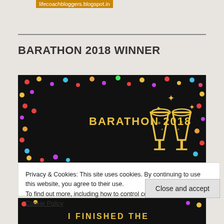lifecoachbloggers.blogspot.in
BARATHON 2018 WINNER
[Figure (illustration): Dark banner image with colorful confetti dots around border, text 'BARATHON 2018' in golden/yellow font on left, and two golden champagne glass icons clinking on the right]
Privacy & Cookies: This site uses cookies. By continuing to use this website, you agree to their use.
To find out more, including how to control cookies, see here:
Cookie Policy
Close and accept
[Figure (illustration): Partial dark banner image with golden text beginning 'I FINISHED THE' visible at the bottom of the page]